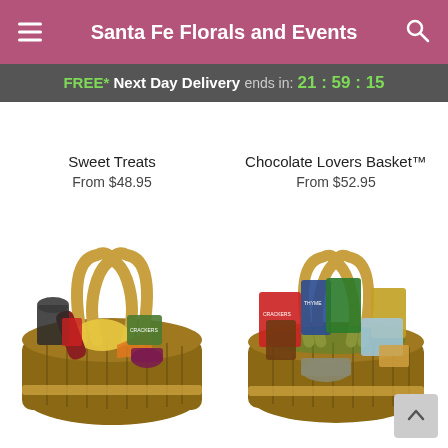Santa Fe Florals and Events
FREE* Next Day Delivery ends in: 21:59:15
Sweet Treats
From $48.95
Chocolate Lovers Basket™
From $52.95
[Figure (photo): Wicker gift basket filled with gourmet meats, cheeses, crackers, and condiments]
[Figure (photo): Wicker gift basket filled with snack items, crackers, nuts, and packaged goods with green filler]